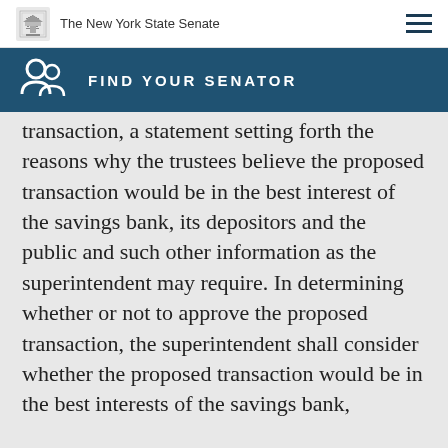The New York State Senate
FIND YOUR SENATOR
transaction, a statement setting forth the reasons why the trustees believe the proposed transaction would be in the best interest of the savings bank, its depositors and the public and such other information as the superintendent may require. In determining whether or not to approve the proposed transaction, the superintendent shall consider whether the proposed transaction would be in the best interests of the savings bank,